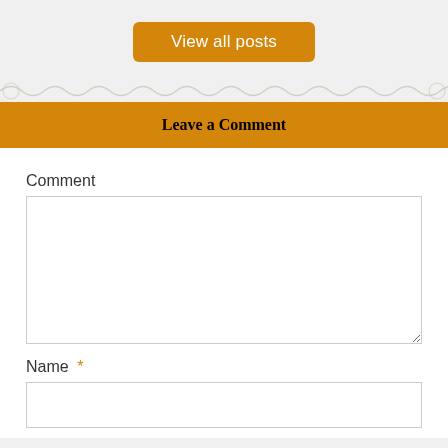View all posts
Leave a Comment
Comment
Name *